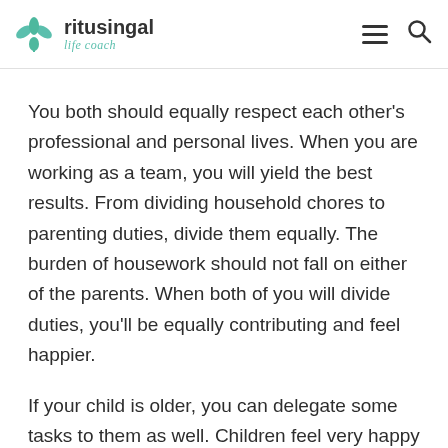ritusingal life coach
You both should equally respect each other's professional and personal lives. When you are working as a team, you will yield the best results. From dividing household chores to parenting duties, divide them equally. The burden of housework should not fall on either of the parents. When both of you will divide duties, you'll be equally contributing and feel happier.
If your child is older, you can delegate some tasks to them as well. Children feel very happy to be